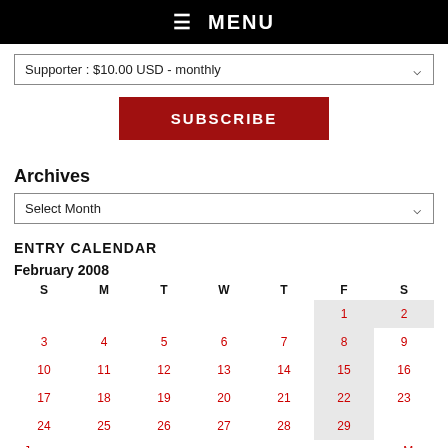☰ MENU
Supporter : $10.00 USD - monthly
SUBSCRIBE
Archives
Select Month
ENTRY CALENDAR
| S | M | T | W | T | F | S |
| --- | --- | --- | --- | --- | --- | --- |
|  |  |  |  |  | 1 | 2 |
| 3 | 4 | 5 | 6 | 7 | 8 | 9 |
| 10 | 11 | 12 | 13 | 14 | 15 | 16 |
| 17 | 18 | 19 | 20 | 21 | 22 | 23 |
| 24 | 25 | 26 | 27 | 28 | 29 |  |
« Jan    Mar »